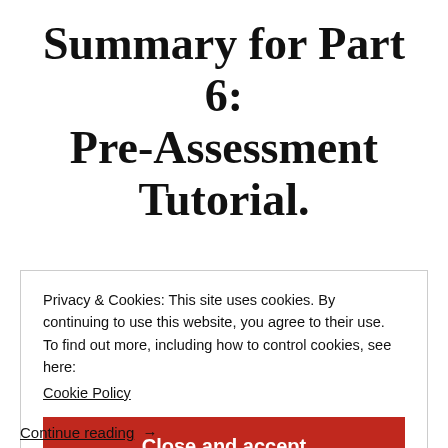Summary for Part 6: Pre-Assessment Tutorial.
Privacy & Cookies: This site uses cookies. By continuing to use this website, you agree to their use.
To find out more, including how to control cookies, see here:
Cookie Policy
Close and accept
Continue reading →